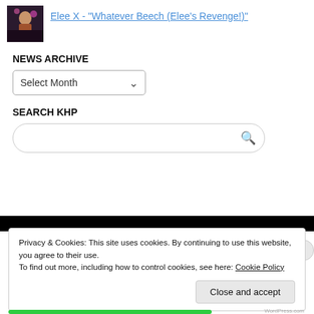[Figure (photo): Small thumbnail photo of a performer on stage with pink/purple lighting]
Elee X - "Whatever Beech (Elee's Revenge!)"
NEWS ARCHIVE
Select Month
SEARCH KHP
Privacy & Cookies: This site uses cookies. By continuing to use this website, you agree to their use.
To find out more, including how to control cookies, see here: Cookie Policy
Close and accept